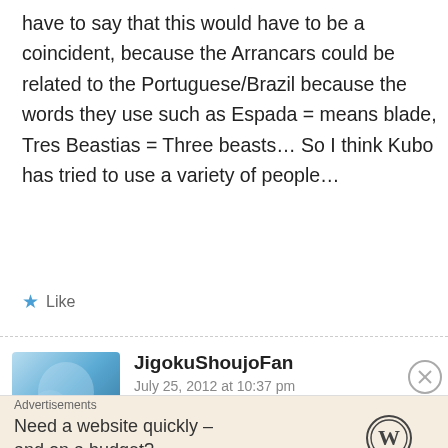have to say that this would have to be a coincident, because the Arrancars could be related to the Portuguese/Brazil because the words they use such as Espada = means blade, Tres Beastias = Three beasts… So I think Kubo has tried to use a variety of people…
★ Like
JigokuShoujoFan
July 25, 2012 at 10:37 pm
Byakuya, Gin, and Hitsugaya are my favorite Captains… Byakuya and Hitsugaya don't
↩ Reply
Advertisements
Need a website quickly – and on a budget?